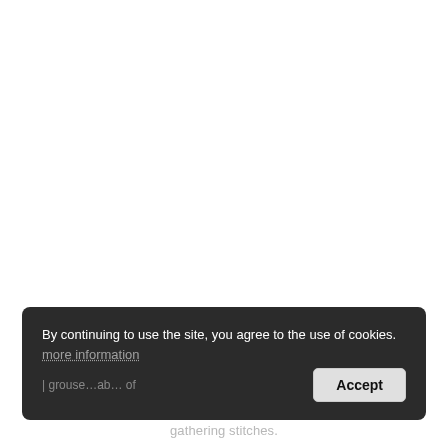By continuing to use the site, you agree to the use of cookies. more information [Accept button] gathering stitches.